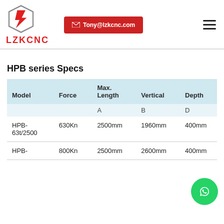LZK CNC — Tony@lzkcnc.com
HPB series Specs
| Model | Force | Max. Length (A) | Vertical (B) | Depth (D) | Strok (C) |
| --- | --- | --- | --- | --- | --- |
| HPB-63t/2500 | 630Kn | 2500mm | 1960mm | 400mm | 150mm |
| HPB- | 800Kn | 2500mm | 2600mm | 400mm | 200mm |